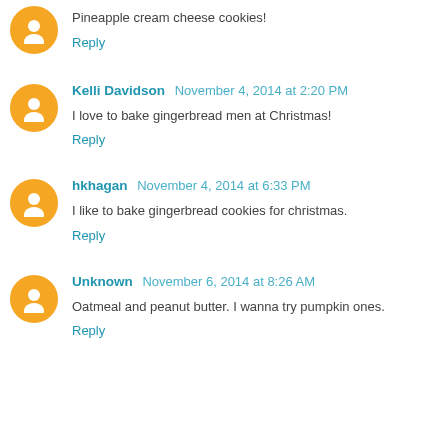Pineapple cream cheese cookies!
Reply
Kelli Davidson  November 4, 2014 at 2:20 PM
I love to bake gingerbread men at Christmas!
Reply
hkhagan  November 4, 2014 at 6:33 PM
I like to bake gingerbread cookies for christmas.
Reply
Unknown  November 6, 2014 at 8:26 AM
Oatmeal and peanut butter. I wanna try pumpkin ones.
Reply